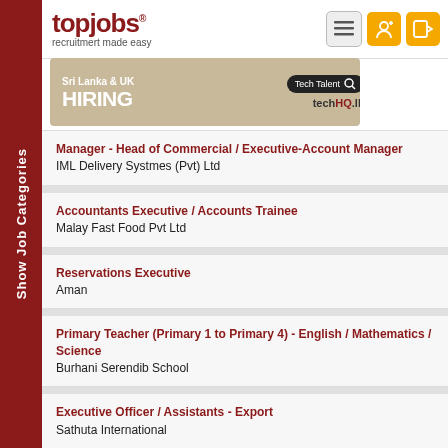topjobs® - recruitment made easy
[Figure (screenshot): topjobs recruitment website screenshot with sidebar showing Show Job Categories and job listings]
Manager - Head of Commercial / Executive-Account Manager — IML Delivery Systmes (Pvt) Ltd
Accountants Executive / Accounts Trainee — Malay Fast Food Pvt Ltd
Reservations Executive — Aman
Primary Teacher (Primary 1 to Primary 4) - English / Mathematics / Science — Burhani Serendib School
Executive Officer / Assistants - Export — Sathuta International
Management Accountant — Durdans Hospital